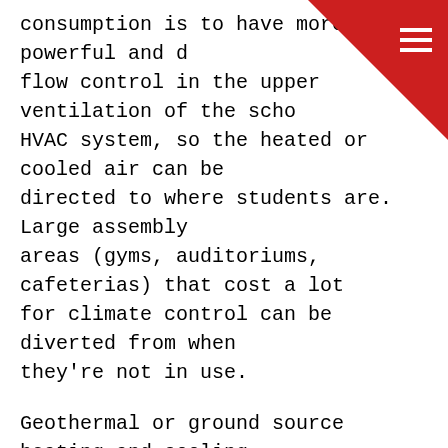consumption is to have more powerful and d... flow control in the upper ventilation of the scho... HVAC system, so the heated or cooled air can be directed to where students are. Large assembly areas (gyms, auditoriums, cafeterias) that cost a lot for climate control can be diverted from when they're not in use.
Geothermal or ground source heating and cooling is another piece of the puzzle. Heat pumps transfer heat from one place to another, using the ground as either a heat source or a heat sink, depending on the season. It's always more efficient to transfer heat or cooling than trying to create your own.
Some people think that zero energy use means being cut off from the public utility power lines, but this is not the aim of net zero designs. These